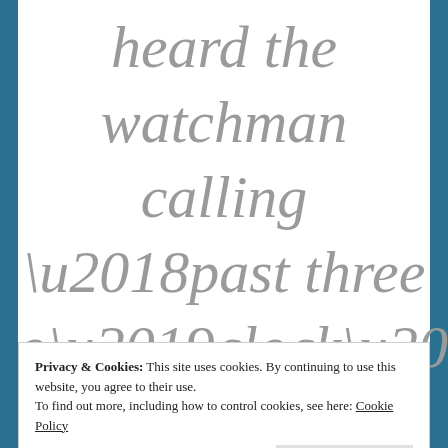heard the watchman calling ‘past three o’clock’. I
Privacy & Cookies: This site uses cookies. By continuing to use this website, you agree to their use.
To find out more, including how to control cookies, see here: Cookie Policy
Close and accept
him to knock at